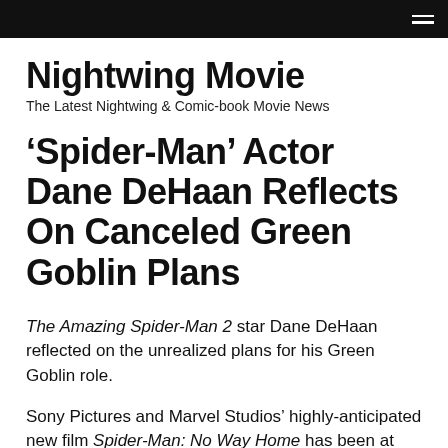Nightwing Movie — navigation bar
Nightwing Movie
The Latest Nightwing & Comic-book Movie News
‘Spider-Man’ Actor Dane DeHaan Reflects On Canceled Green Goblin Plans
The Amazing Spider-Man 2 star Dane DeHaan reflected on the unrealized plans for his Green Goblin role.
Sony Pictures and Marvel Studios’ highly-anticipated new film Spider-Man: No Way Home has been at the